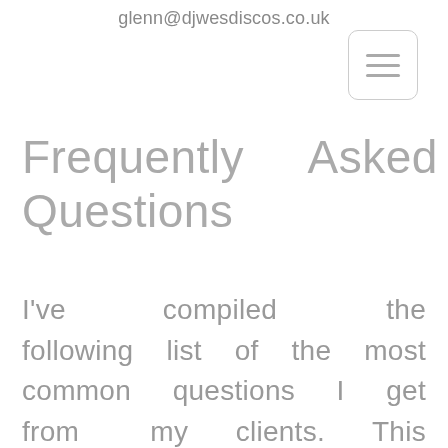glenn@djwesdiscos.co.uk
[Figure (other): Hamburger menu button with three horizontal lines inside a rounded rectangle border]
Frequently Asked Questions
I've compiled the following list of the most common questions I get from my clients. This should help answer any queries you may have, but if not please don't hesitate